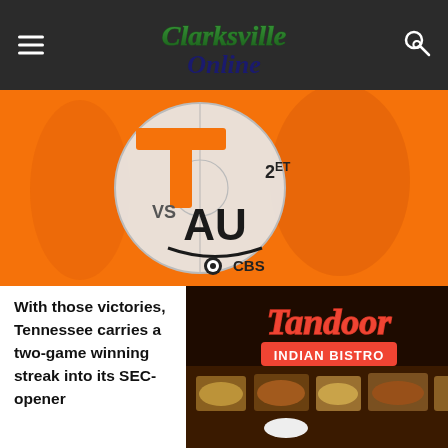Clarksville Online
[Figure (illustration): Tennessee vs Auburn basketball game graphic — orange background with basketball court circle, large orange T (Tennessee logo), VS text, Auburn AU logo, 2ET time indicator, CBS network logo]
With those victories, Tennessee carries a two-game winning streak into its SEC-opener
[Figure (photo): Tandoor Indian Bistro advertisement photo showing a buffet spread with the restaurant name in red cursive script and 'INDIAN BISTRO' in block letters]